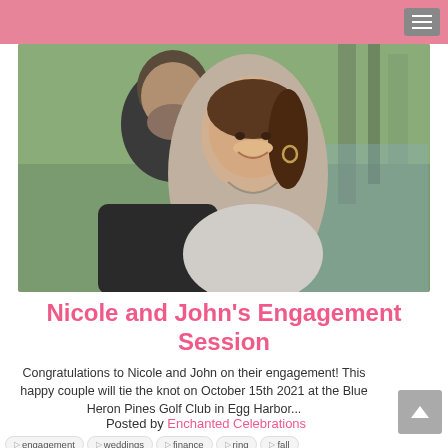[Figure (photo): Engagement photo of a smiling couple cheek-to-cheek outdoors with greenery in background. The woman is in front wearing a light gray top and hoop earrings, showing her engagement ring. The man has a beard and is wearing a dark top.]
Nicole and John's Engagement Session
Congratulations to Nicole and John on their engagement! This happy couple will tie the knot on October 15th 2021 at the Blue Heron Pines Golf Club in Egg Harbor...
Posted by Enchanted Celebrations
engagement
weddings
finance
ring
fall